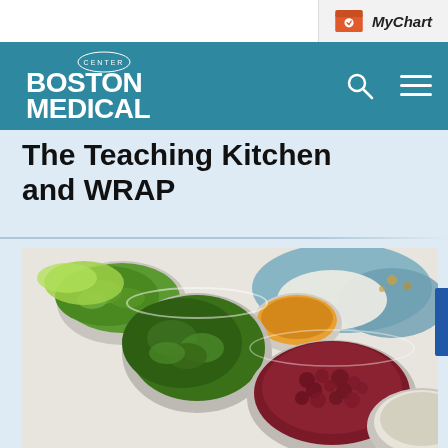MyChart
[Figure (logo): Boston Medical Center logo in white on teal navigation bar with search and menu icons]
The Teaching Kitchen and WRAP
[Figure (photo): Overhead view of multiple glass bowls containing various food ingredients including fresh herbs (green onions, parsley), dried cranberries, what appears to be sugar or salt, orange spice, and other ingredients arranged on a white surface with a blue cloth napkin in background]